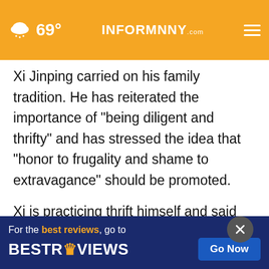69° INFORMNNY.com
Xi Jinping carried on his family tradition. He has reiterated the importance of "being diligent and thrifty" and has stressed the idea that "honor to frugality and shame to extravagance" should be promoted.
Xi is practicing thrift himself and said the spirit of hard work should be upheld although the living conditions have greatly improved nowadays.
Link: https://youtube.com/shorts/nnUhrdkjQZc
View original content to download
[Figure (screenshot): Advertisement banner: For the best reviews, go to BESTREVIEWS with a Go Now button]